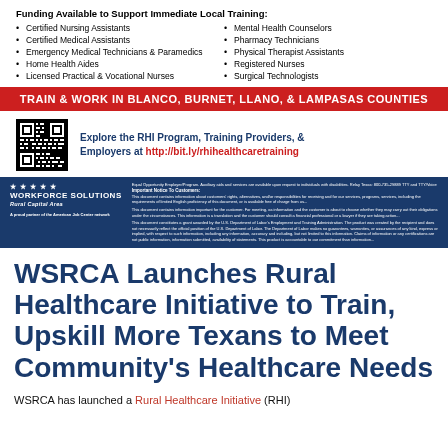Funding Available to Support Immediate Local Training:
Certified Nursing Assistants
Certified Medical Assistants
Emergency Medical Technicians & Paramedics
Home Health Aides
Licensed Practical & Vocational Nurses
Mental Health Counselors
Pharmacy Technicians
Physical Therapist Assistants
Registered Nurses
Surgical Technologists
TRAIN & WORK IN BLANCO, BURNET, LLANO,  & LAMPASAS COUNTIES
Explore the RHI Program, Training Providers, & Employers at http://bit.ly/rhihealthcaretraining
[Figure (logo): Workforce Solutions Rural Capital Area logo with stars, blue background, and small partner text]
WSRCA Launches Rural Healthcare Initiative to Train, Upskill More Texans to Meet Community's Healthcare Needs
WSRCA has launched a Rural Healthcare Initiative (RHI)